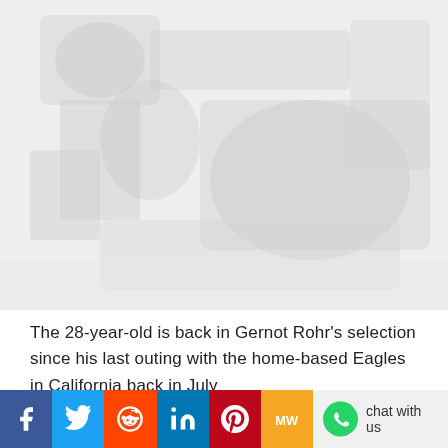[Figure (photo): Faded/watermarked background photograph, light grey tones, appears to show a person or sports scene]
The 28-year-old is back in Gernot Rohr’s selection since his last outing with the home-based Eagles in California back in July
[Figure (infographic): Social media share bar with Facebook, Twitter, Reddit, LinkedIn, Pinterest, MadameWell, and WhatsApp chat with us buttons]